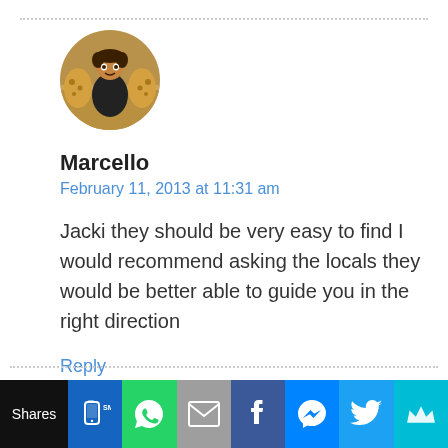[Figure (photo): Circular avatar photo of Marcello, a person sitting with cheetahs]
Marcello
February 11, 2013 at 11:31 am
Jacki they should be very easy to find I would recommend asking the locals they would be better able to guide you in the right direction
Reply
Shares | SMS | WhatsApp | Email | Facebook | Messenger | Twitter | More